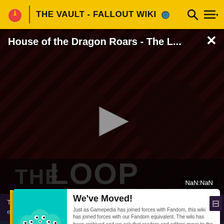THE VAULT - FALLOUT WIKI
[Figure (screenshot): Video player showing 'House of the Dragon Roars - The L...' with a play button in the center, dark background with diagonal stripes in red/dark tones, 'THE LOOP' watermark, and NaN:NaN timestamp]
The following section is transcluded from Minigun. To modify, please edit the...
[Figure (infographic): We've Moved! notice panel with teal background and monster illustration on left. Text: 'Just as Gamepedia has joined forces with Fandom, this wiki has joined forces with our Fandom equivalent. The wiki has been archived and we ask that readers and editors move to the new combined wiki on Fandom.' Button: 'GO TO NEW WIKI →']